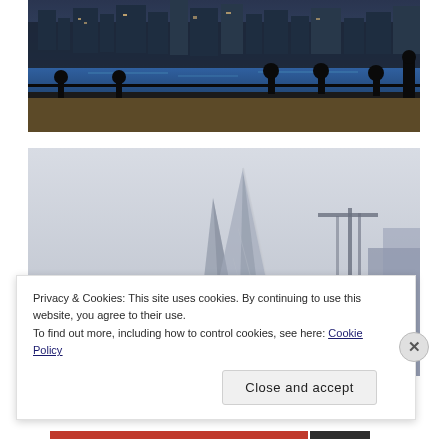[Figure (photo): Dusk photo of London city skyline viewed across the Thames river, with silhouetted railing/bollards in the foreground]
[Figure (photo): Looking up at the Shard skyscraper in foggy/overcast conditions with a construction crane visible on the right side]
Privacy & Cookies: This site uses cookies. By continuing to use this website, you agree to their use.
To find out more, including how to control cookies, see here: Cookie Policy
Close and accept